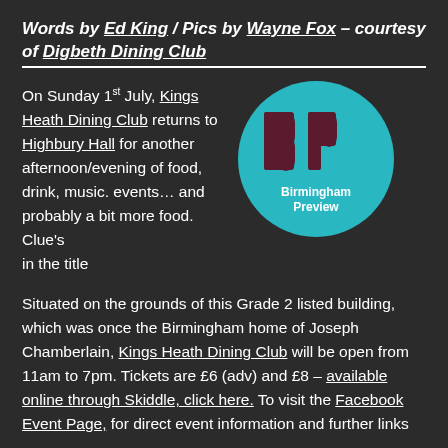Words by Ed King / Pics by Wayne Fox – courtesy of Digbeth Dining Club
On Sunday 1st July, Kings Heath Dining Club returns to Highbury Hall for another afternoon/evening of food, drink, music. events... and probably a bit more food. Clue's in the title
[Figure (logo): Birmingham Preview circular logo — teal circle with dark red BP letters and 'Birmingham Preview' text in white]
Situated on the grounds of this Grade 2 listed building, which was once the Birmingham home of Joseph Chamberlain, Kings Heath Dining Club will be open from 11am to 7pm. Tickets are £6 (adv) and £8 – available online through Skiddle, click here. To visit the Facebook Event Page, for direct event information and further links